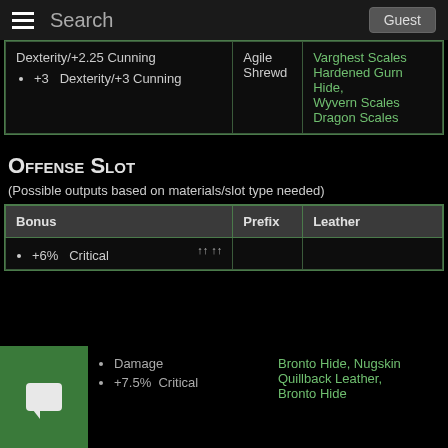Search  Guest
| Bonus | Prefix | Leather |
| --- | --- | --- |
| Dexterity/+2.25 Cunning
• +3 Dexterity/+3 Cunning | Agile
Shrewd | Varghest Scales
Hardened Gurn Hide,
Wyvern Scales
Dragon Scales |
Offense Slot
(Possible outputs based on materials/slot type needed)
| Bonus | Prefix | Leather |
| --- | --- | --- |
| • +6% Critical Damage
• +7.5% Critical Damage |  | Bronto Hide, Nugskin
Quillback Leather,
Bronto Hide |